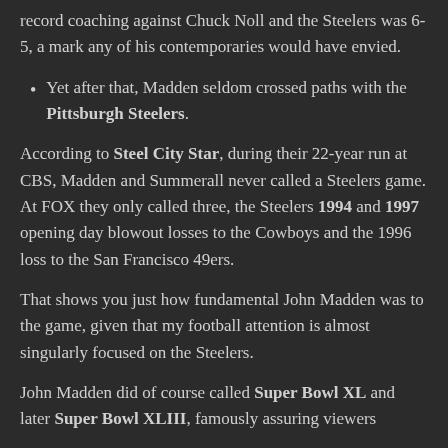record coaching against Chuck Noll and the Steelers was 6-5, a mark any of his contemporaries would have envied.
Yet after that, Madden seldom crossed paths with the Pittsburgh Steelers.
According to Steel City Star, during their 22-year run at CBS, Madden and Summerall never called a Steelers game. At FOX they only called three, the Steelers 1994 and 1997 opening day blowout losses to the Cowboys and the 1996 loss to the San Francisco 49ers.
That shows you just how fundamental John Madden was to the game, given that my football attention is almost singularly focused on the Steelers.
John Madden did of course called Super Bowl XL and later Super Bowl XLIII, famously assuring viewers